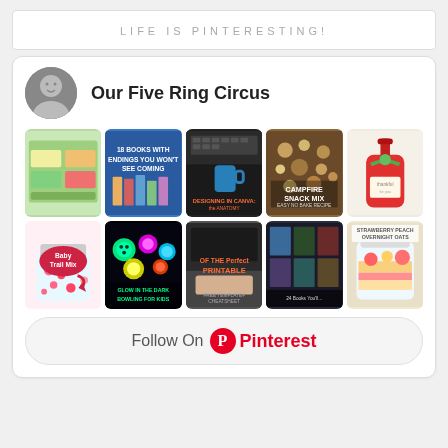LIFE IS PINTERESTING!
Our Five Ring Circus
[Figure (screenshot): Pinterest board widget showing 10 pinned images in a 5x2 grid: toy organizer, 18 books with surprising endings, Designing in Canva anatomy of the perfect printable, Campfire Snack Mix, thankful gift tag with soap, Baby Trail Mix jar, Glow in the Dark Bowling for Kids, laptop/keyboard photo, 24 books you'll love collection, Strawberry Peach Overnight Oats]
Follow On Pinterest